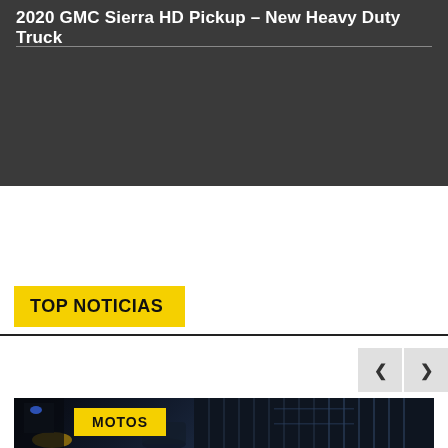2020 GMC Sierra HD Pickup – New Heavy Duty Truck
[Figure (screenshot): Dark gray background section (advertisement/video placeholder area)]
TOP NOTICIAS
[Figure (screenshot): Navigation carousel arrows (previous/next) for TOP NOTICIAS section]
[Figure (photo): Night photo of a motorcycle and rider on a dark city street with building in background. Yellow 'MOTOS' category badge overlaid on image.]